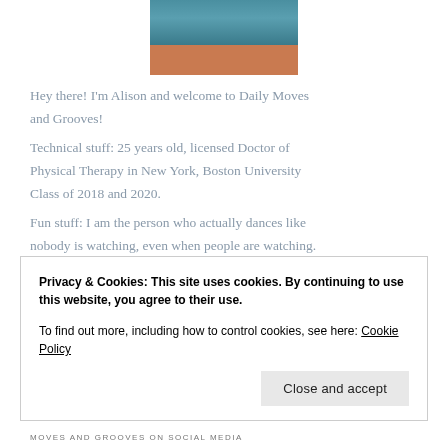[Figure (photo): Cropped photo of a woman holding a plate of food outdoors]
Hey there! I'm Alison and welcome to Daily Moves and Grooves!
Technical stuff: 25 years old, licensed Doctor of Physical Therapy in New York, Boston University Class of 2018 and 2020.
Fun stuff: I am the person who actually dances like nobody is watching, even when people are watching.
I don't eat nut butter; I inhale it. I have a crooked smile. My ringtone is...
Privacy & Cookies: This site uses cookies. By continuing to use this website, you agree to their use.
To find out more, including how to control cookies, see here: Cookie Policy
MOVES AND GROOVES ON SOCIAL MEDIA